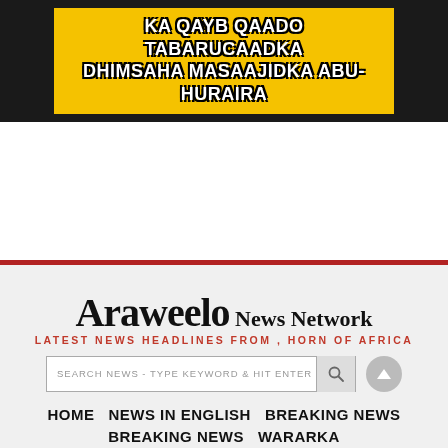[Figure (illustration): Yellow and black banner advertisement with bold white text: KA QAYB QAADO TABARUCAADKA DHIMSAHA MASAAJIDKA ABU-HURAIRA]
[Figure (logo): Araweelo News Network logo with tagline: LATEST NEWS HEADLINES FROM , HORN OF AFRICA]
SEARCH NEWS - TYPE KEYWORD & HIT ENTER
HOME   NEWS IN ENGLISH   BREAKING NEWS   WARARKA